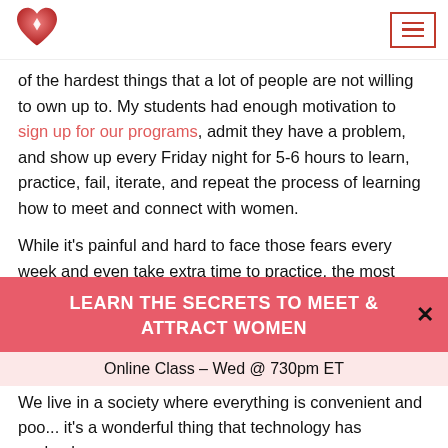[Logo: red heart with diamond] [Hamburger menu button]
of the hardest things that a lot of people are not willing to own up to. My students had enough motivation to sign up for our programs, admit they have a problem, and show up every Friday night for 5-6 hours to learn, practice, fail, iterate, and repeat the process of learning how to meet and connect with women.
While it's painful and hard to face those fears every week and even take extra time to practice, the most important part is never losing sight of the goal. It's
LEARN THE SECRETS TO MEET & ATTRACT WOMEN
Online Class – Wed @ 730pm ET
We live in a society where everything is convenient and poo... It's a wonderful thing that technology has evolved...